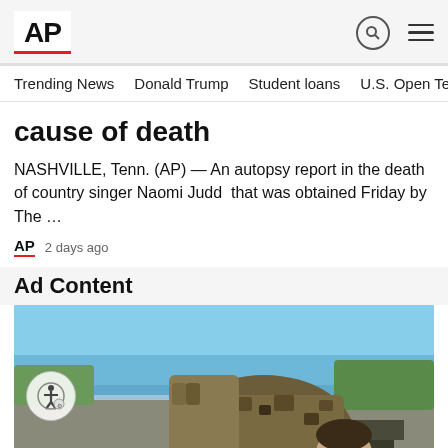AP
Trending News  Donald Trump  Student loans  U.S. Open Tenn
cause of death
NASHVILLE, Tenn. (AP) — An autopsy report in the death of country singer Naomi Judd  that was obtained Friday by The …
AP  2 days ago
Ad Content
[Figure (photo): Military service member in camouflage gear drinking water outdoors near water, with blue sky background and military equipment visible in background]